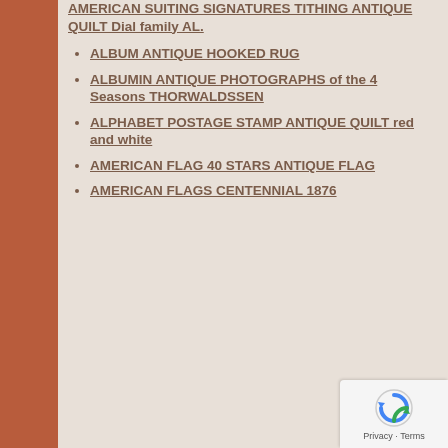AMERICAN SUITING SIGNATURES TITHING ANTIQUE QUILT Dial family AL.
ALBUM ANTIQUE HOOKED RUG
ALBUMIN ANTIQUE PHOTOGRAPHS of the 4 Seasons THORWALDSSEN
ALPHABET POSTAGE STAMP ANTIQUE QUILT red and white
AMERICAN FLAG 40 STARS ANTIQUE FLAG
AMERICAN FLAGS CENTENNIAL 1876